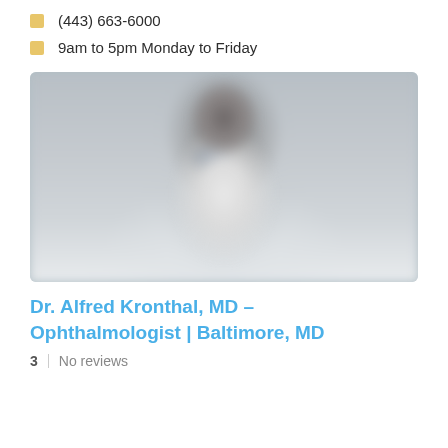(443) 663-6000
9am to 5pm Monday to Friday
[Figure (photo): Blurred photo of a doctor in a white coat against a gray background]
Dr. Alfred Kronthal, MD – Ophthalmologist | Baltimore, MD
3   No reviews